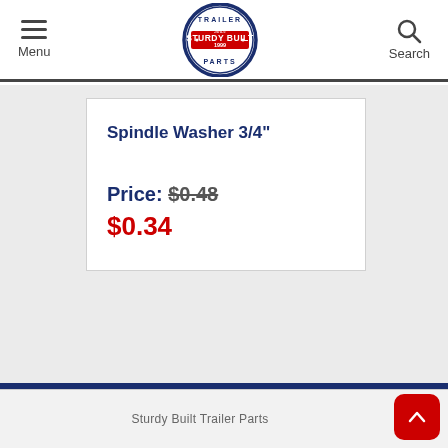Menu | Sturdy Built Trailer Parts | Search
Spindle Washer 3/4"
Price: $0.48 $0.34
Sturdy Built Trailer Parts